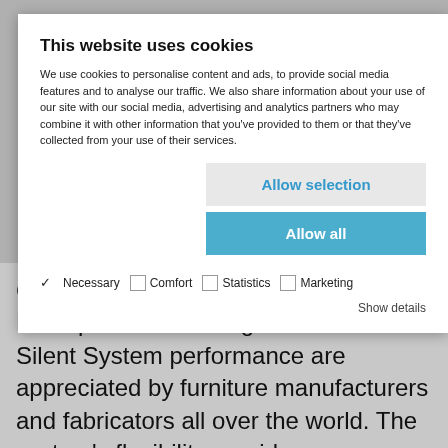This website uses cookies
We use cookies to personalise content and ads, to provide social media features and to analyse our traffic. We also share information about your use of our site with our social media, advertising and analytics partners who may combine it with other information that you've provided to them or that they've collected from your use of their services.
Allow selection
Allow all
✓ Necessary  ☐ Comfort  ☐ Statistics  ☐ Marketing  Show details
Convenient, easy movement: TopLine L's impressive running action and Silent System performance are appreciated by furniture manufacturers and fabricators all over the world. The system's flexibility provides many